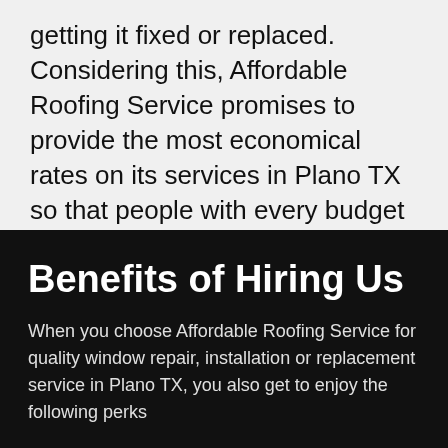getting it fixed or replaced. Considering this, Affordable Roofing Service promises to provide the most economical rates on its services in Plano TX so that people with every budget should be able to enjoy a high-quality window service.
Benefits of Hiring Us
When you choose Affordable Roofing Service for quality window repair, installation or replacement service in Plano TX, you also get to enjoy the following perks
Over Two Decades of Experience